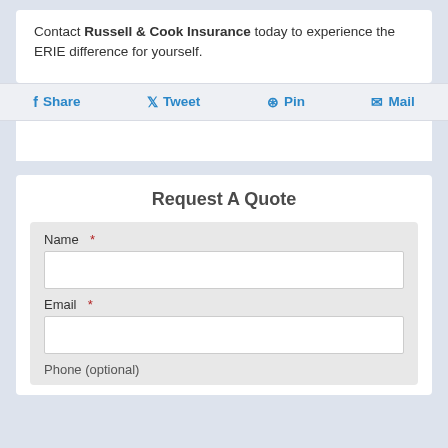Contact Russell & Cook Insurance today to experience the ERIE difference for yourself.
Share  Tweet  Pin  Mail
Request A Quote
Name *
Email *
Phone (optional)